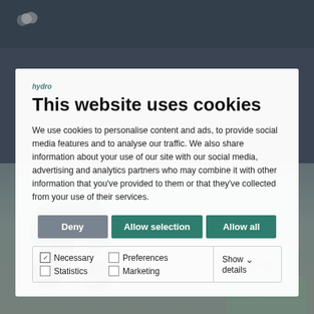[Figure (screenshot): Website screenshot showing a cookie consent modal dialog on top of a page with a dark navigation bar (with Hydro logo) and a background photo of a baby stroller and person sitting on boxes]
This website uses cookies
We use cookies to personalise content and ads, to provide social media features and to analyse our traffic. We also share information about your use of our site with our social media, advertising and analytics partners who may combine it with other information that you've provided to them or that they've collected from your use of their services.
Deny | Allow selection | Allow all
Necessary | Preferences | Statistics | Marketing | Show details